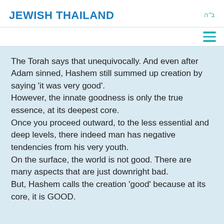JEWISH THAILAND
ב"ה
The Torah says that unequivocally. And even after Adam sinned, Hashem still summed up creation by saying 'it was very good'.
However, the innate goodness is only the true essence, at its deepest core.
Once you proceed outward, to the less essential and deep levels, there indeed man has negative tendencies from his very youth.
On the surface, the world is not good. There are many aspects that are just downright bad.
But, Hashem calls the creation 'good' because at its core, it is GOOD.